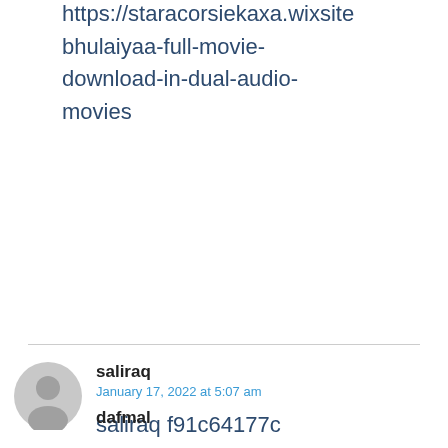https://staracorsiekaxa.wixsite bhulaiyaa-full-movie-download-in-dual-audio-movies
saliraq
January 17, 2022 at 5:07 am
saliraq f91c64177c https://wakelet.com/wake/c-YThdbusSyjnlgkqhbKG
dafmal